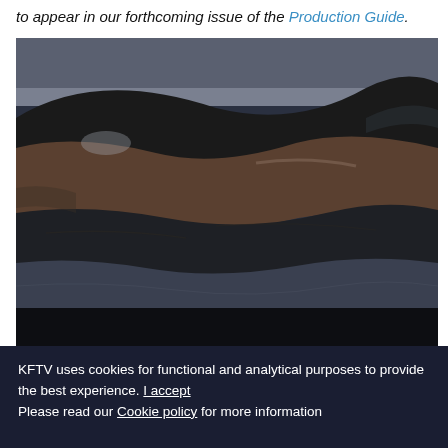to appear in our forthcoming issue of the Production Guide.
[Figure (photo): Aerial or close-up view of a rocky, mountainous or crater-like landscape with dark stone, sandy and grey layered terrain, shot from above or at ground level.]
KFTV uses cookies for functional and analytical purposes to provide the best experience. I accept
Please read our Cookie policy for more information